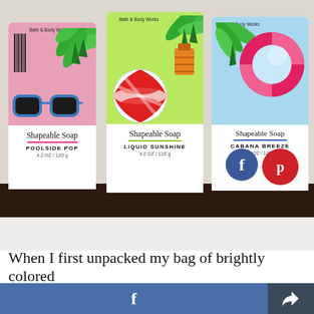[Figure (photo): Three Bath & Body Works Shapeable Soap bottles displayed side by side on a dark shelf. Left bottle has pink background with sunglasses and palm leaves, labeled 'POOLSIDE POP 4.2 OZ / 120 g'. Center bottle has green background with a beach ball, labeled 'LIQUID SUNSHINE 4.2 OZ / 120 g'. Right bottle has light blue background with a pool float ring, labeled 'CABANA BREEZE 4.2 OZ / 120 g'. Facebook and Pinterest share buttons overlay the bottom right of the image.]
When I first unpacked my bag of brightly colored